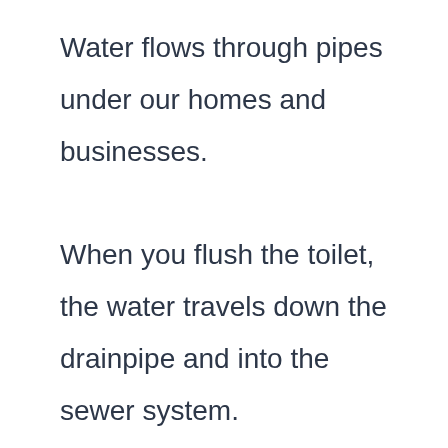Water flows through pipes under our homes and businesses. When you flush the toilet, the water travels down the drainpipe and into the sewer system. In this blog post, I will explain you how to find the location of the main sewer line in your home.